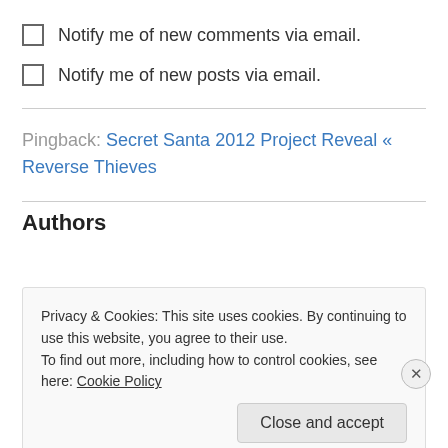Notify me of new comments via email.
Notify me of new posts via email.
Pingback: Secret Santa 2012 Project Reveal « Reverse Thieves
Authors
Privacy & Cookies: This site uses cookies. By continuing to use this website, you agree to their use.
To find out more, including how to control cookies, see here: Cookie Policy
Close and accept